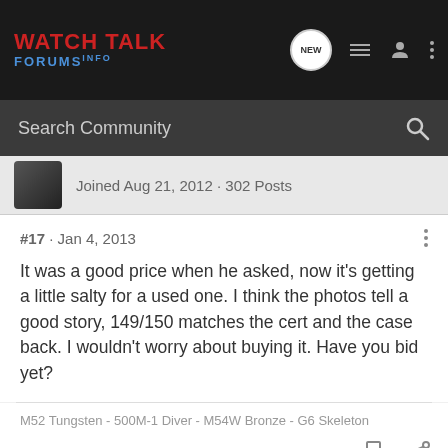WATCH TALK FORUMS INFO
Search Community
Joined Aug 21, 2012 · 302 Posts
#17 · Jan 4, 2013
It was a good price when he asked, now it's getting a little salty for a used one. I think the photos tell a good story, 149/150 matches the cert and the case back. I wouldn't worry about buying it. Have you bid yet?
M52 Tungsten - 500M-1 Diver - M54W Bronze - G6 Skeleton